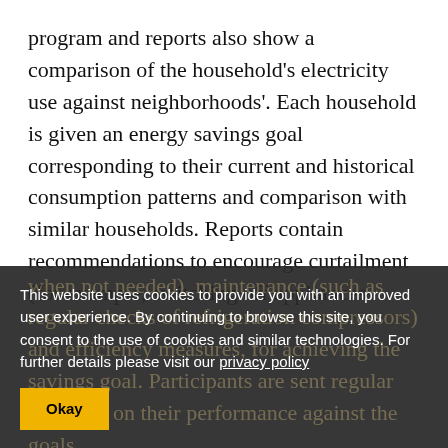program and reports also show a comparison of the household's electricity use against neighborhoods'. Each household is given an energy savings goal corresponding to their current and historical consumption patterns and comparison with similar households. Reports contain recommendations to encourage curtailment (for example, switching off appliances when not needed), maintenance (such as regular checks of refrigeration compressors) and efficiency measures, for achieving the savings goal. Participants are sent regular feedback on their performance against the goals.
This website uses cookies to provide you with an improved user experience. By continuing to browse this site, you consent to the use of cookies and similar technologies. For further details please visit our privacy policy